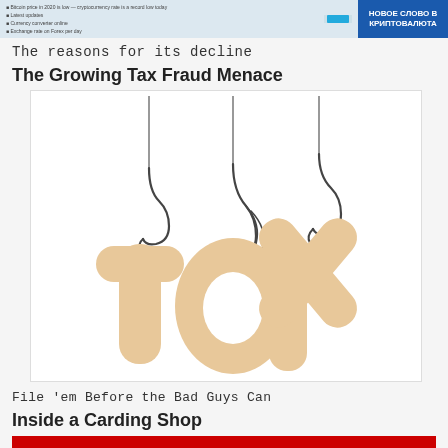[Figure (screenshot): Top banner showing a webpage screenshot with text content on the left and a blue button/box on the right with Cyrillic text]
The reasons for its decline
The Growing Tax Fraud Menace
[Figure (photo): Wooden letter shapes spelling 'tax' hanging from fishing hooks on white background]
File 'em Before the Bad Guys Can
Inside a Carding Shop